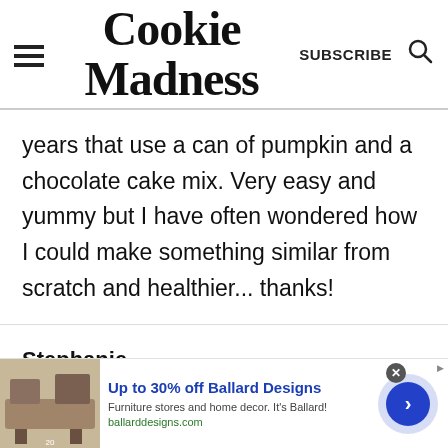Cookie Madness | SUBSCRIBE
years that use a can of pumpkin and a chocolate cake mix. Very easy and yummy but I have often wondered how I could make something similar from scratch and healthier... thanks!
Stephanie
[Figure (infographic): Advertisement banner: Up to 30% off Ballard Designs. Furniture stores and home decor. It's Ballard! ballarddesigns.com]